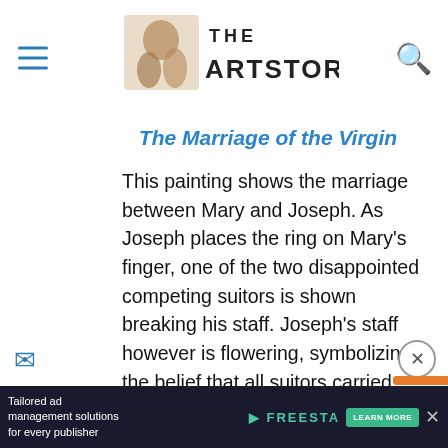THE ARTSTORY
The Marriage of the Virgin
This painting shows the marriage between Mary and Joseph. As Joseph places the ring on Mary's finger, one of the two disappointed competing suitors is shown breaking his staff. Joseph's staff however is flowering, symbolizing the belief that all suitors carried wooden staffs, yet only the chosen groom's would bloom. A temple is seen in the background, created in the style of the architect Bramante. The use of vibrant colors and the emotional expressions of the figures add a graceful demeanor to the painting, which emanates a sense of the divine blessing of the scene rather than a mere happy temporal
[Figure (screenshot): Advertisement banner: Tailored ad management solutions for every publisher – FreeStart, Learn More button]